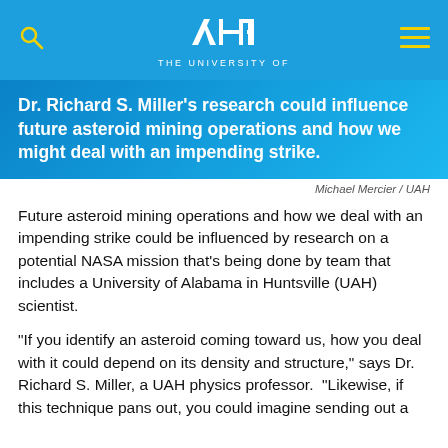UAH – THE UNIVERSITY OF
Dr. Richard S. Miller's research could influence future asteroid mining operations and how we might deal with an impending strike.
Michael Mercier / UAH
Future asteroid mining operations and how we deal with an impending strike could be influenced by research on a potential NASA mission that's being done by team that includes a University of Alabama in Huntsville (UAH) scientist.
"If you identify an asteroid coming toward us, how you deal with it could depend on its density and structure," says Dr. Richard S. Miller, a UAH physics professor.  "Likewise, if this technique pans out, you could imagine sending out a